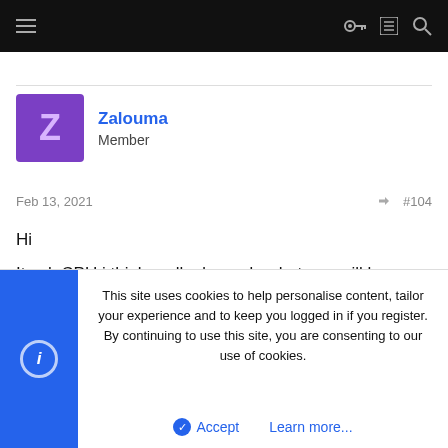Navigation bar with hamburger menu and icons
Zalouma
Member
Feb 13, 2021    #104
Hi
Its ok CPU i think really depends what you will be running, basically its xeon version of Core i7 4770k
This site uses cookies to help personalise content, tailor your experience and to keep you logged in if you register.
By continuing to use this site, you are consenting to our use of cookies.
Accept    Learn more...